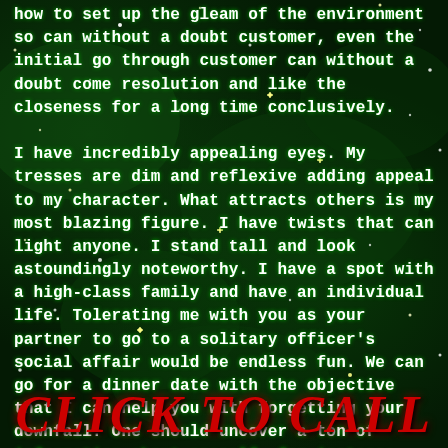how to set up the gleam of the environment so can without a doubt customer, even the initial go through customer can without a doubt come resolution and like the closeness for a long time conclusively.

I have incredibly appealing eyes. My tresses are dim and reflexive adding appeal to my character. What attracts others is my most blazing figure. I have twists that can light anyone. I stand tall and look astoundingly noteworthy. I have a spot with a high-class family and have an individual life. Tolerating me with you as your partner to go to a solitary officer's social affair would be endless fun. We can go for a dinner date with the objective that I can help you with forgetting your downfall. One should uncover a ton of information about oneself, for instance, family establishment, capable establishment, etc. Divulging these things could stain one's image. Lovemaking endeavors are an ordered issue and one should be incredibly
CLICK TO CALL